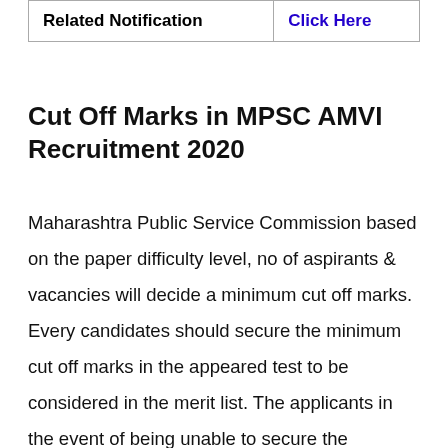| Related Notification | Click Here |
| --- | --- |
Cut Off Marks in MPSC AMVI Recruitment 2020
Maharashtra Public Service Commission based on the paper difficulty level, no of aspirants & vacancies will decide a minimum cut off marks. Every candidates should secure the minimum cut off marks in the appeared test to be considered in the merit list. The applicants in the event of being unable to secure the minimum marks will stand disqualified for